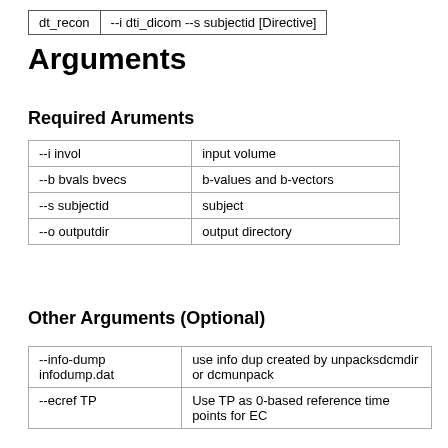dt_recon   --i dti_dicom --s subjectid [Directive]
Arguments
Required Aruments
| --i invol | input volume |
| --b bvals bvecs | b-values and b-vectors |
| --s subjectid | subject |
| --o outputdir | output directory |
Other Arguments (Optional)
| --info-dump infodump.dat | use info dup created by unpacksdcmdir or dcmunpack |
| --ecref TP | Use TP as 0-based reference time points for EC |